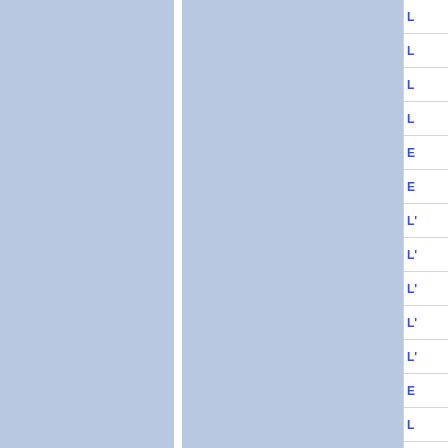[Figure (other): Document index or table of contents panel with blue background columns separated by white divider, and a right column showing row labels: L, L, L, L, E, E, L', L', L', L', L', E, L]
L
L
L
L
E
E
L'
L'
L'
L'
L'
E
L